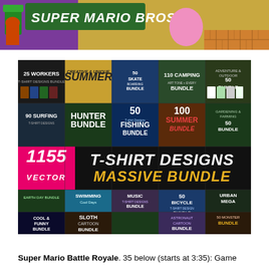[Figure (screenshot): Top strip showing Super Mario Bros. game screenshot with colorful characters and game elements]
[Figure (infographic): 1155 Vector T-Shirt Designs Massive Bundle promotional image showing multiple bundle categories including Workers, Summer, Skate Boarding, Camping, Adventure, Surfing, Hunter, Fishing, Summer, Gardening & Farming bundles, plus Earth Day, Swimming, Music, Bicycle, Urban, Cool & Funny, Sloth Cartoon, Astronaut Cartoon, Monster bundles. Central banner reads '1155 VECTOR T-SHIRT DESIGNS MASSIVE BUNDLE']
Super Mario Battle Royale. 35 below (starts at 3:35): Game